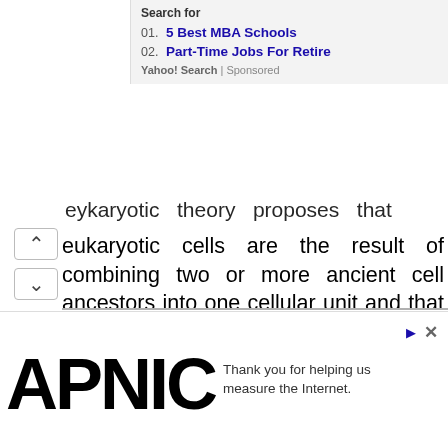Search for
01. 5 Best MBA Schools
02. Part-Time Jobs For Retire
Yahoo! Search | Sponsored
eukaryotic cells are the result of combining two or more ancient cell ancestors into one cellular unit and that both of the original separate cells benefit from the new combination.
The accumulation of geologic information has allowed several key events in the history of life to be placed in sequence (figure 19.14).
[Figure (logo): APNIC logo in large bold black text]
Thank you for helping us measure the Internet.